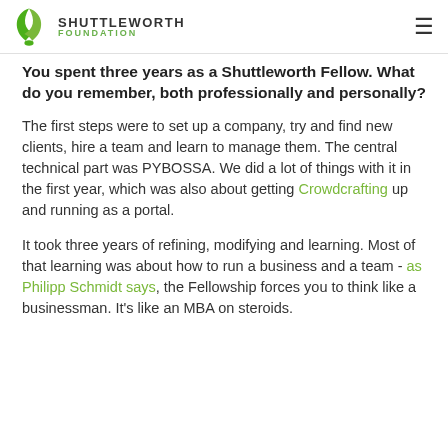SHUTTLEWORTH FOUNDATION
You spent three years as a Shuttleworth Fellow. What do you remember, both professionally and personally?
The first steps were to set up a company, try and find new clients, hire a team and learn to manage them. The central technical part was PYBOSSA. We did a lot of things with it in the first year, which was also about getting Crowdcrafting up and running as a portal.
It took three years of refining, modifying and learning. Most of that learning was about how to run a business and a team - as Philipp Schmidt says, the Fellowship forces you to think like a businessman. It's like an MBA on steroids.